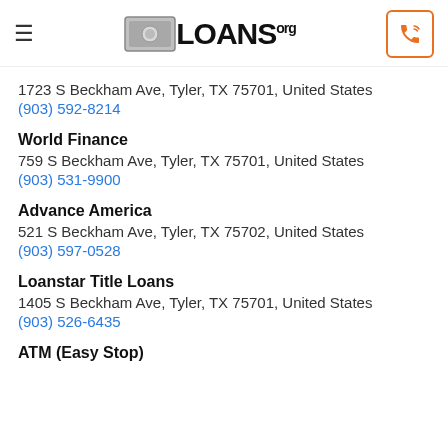LOANS.org
1723 S Beckham Ave, Tyler, TX 75701, United States
(903) 592-8214
World Finance
759 S Beckham Ave, Tyler, TX 75701, United States
(903) 531-9900
Advance America
521 S Beckham Ave, Tyler, TX 75702, United States
(903) 597-0528
Loanstar Title Loans
1405 S Beckham Ave, Tyler, TX 75701, United States
(903) 526-6435
ATM (Easy Stop)